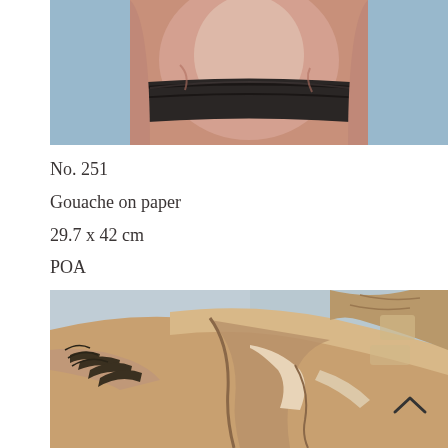[Figure (photo): Close-up of a figure's torso wearing a dark black sash/belt against a light blue background, painted in gouache style showing skin tones and dark fabric.]
No. 251
Gouache on paper
29.7 x 42 cm
POA
[Figure (photo): Gouache painting showing a figure's torso and outstretched arm with dark leaf/feather markings, rendered in warm brown and beige tones against a pale blue-grey background. A small upward-pointing chevron/arrow is visible in the lower right corner.]